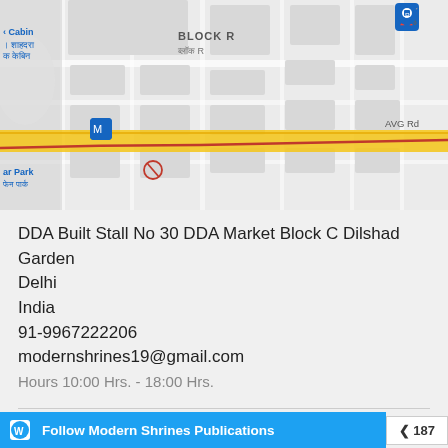[Figure (map): Google Maps screenshot showing an area of Delhi with Block R labeled in English and Hindi, Jhilmil metro area, AVG Rd, a yellow highlighted road, metro station icon, fuel station icon, and a red boundary line.]
DDA Built Stall No 30 DDA Market Block C Dilshad Garden
Delhi
India
91-9967222206
modernshrines19@gmail.com
Hours 10:00 Hrs. - 18:00 Hrs.
BLOG STATS
20,132 hits
Follow Modern Shrines Publications
187